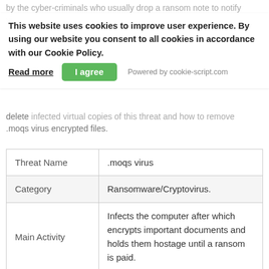by the cyber-criminals who usually drop a ransom note to notify victims about the infection. The moqs ransomware will delete infected virtual copies of this threat and how to remove .moqs virus encrypted files.
This website uses cookies to improve user experience. By using our website you consent to all cookies in accordance with our Cookie Policy. Read more | I agree | Powered by cookie-script.com
.moqs virus encrypted files.
| Threat Name | .moqs virus |
| --- | --- |
| Category | Ransomware/Cryptovirus. |
| Main Activity | Infects the computer after which encrypts important documents and holds them hostage until a ransom is paid. |
| Signs of Presence | Files are encrypted with a custom file extension and users are extorted to pay ransom to get the data to work again. |